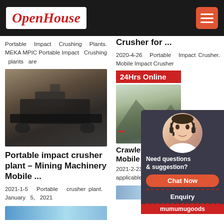OpenHouse
Crusher for ...
Portable Impact Crushing Plants. MEKA MPIC Portable Impact Crushing plants are
[Figure (photo): Portable impact crusher machine on a construction/mining site]
Portable impact crusher plant – Mining Machinery Mobile ...
2021-1-5  Portable crusher plant. January 5, 2021
[Figure (photo): Blue water/machinery image at bottom of left column]
2020-4-26  Portable Impact Crusher. Mobile Impact Crusher
[Figure (photo): Crawler mobile crusher on a site with mountains]
Crawler Cr... Mobile Cru...
2021-2-23  M... Mobile Scre... applicable for
24Hrs Online
Need questions & suggestion?
Chat Now
Enquiry
mumumugoods